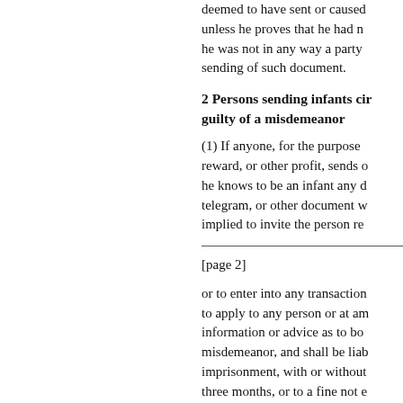deemed to have sent or caused unless he proves that he had n he was not in any way a party sending of such document.
2 Persons sending infants cir guilty of a misdemeanor
(1) If anyone, for the purpose reward, or other profit, sends o he knows to be an infant any d telegram, or other document w implied to invite the person re
[page 2]
or to enter into any transaction to apply to any person or at am information or advice as to bo misdemeanor, and shall be liab imprisonment, with or without three months, or to a fine not e both imprisonment and fine, a to imprisonment, with or with